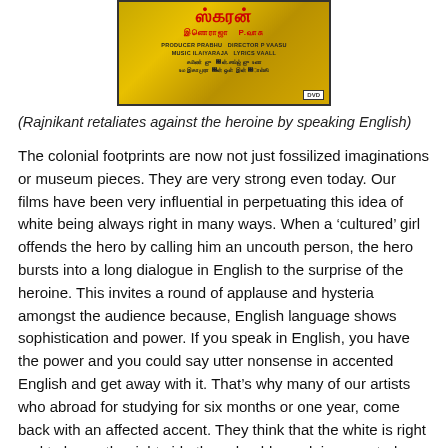[Figure (photo): DVD cover of a Tamil film showing Tamil script title in red, subtitle in Tamil/transliteration, credits for producer Prabhu, director P. Vaasu, music Ilaiyaraja, lyrics Vaali, and a DVD badge in the corner. Yellow/gold background.]
(Rajnikant retaliates against the heroine by speaking English)
The colonial footprints are now not just fossilized imaginations or museum pieces. They are very strong even today. Our films have been very influential in perpetuating this idea of white being always right in many ways. When a ‘cultured’ girl offends the hero by calling him an uncouth person, the hero bursts into a long dialogue in English to the surprise of the heroine. This invites a round of applause and hysteria amongst the audience because, English language shows sophistication and power. If you speak in English, you have the power and you could say utter nonsense in accented English and get away with it. That’s why many of our artists who abroad for studying for six months or one year, come back with an affected accent. They think that the white is right and to be on the right side they should speak in accented English.